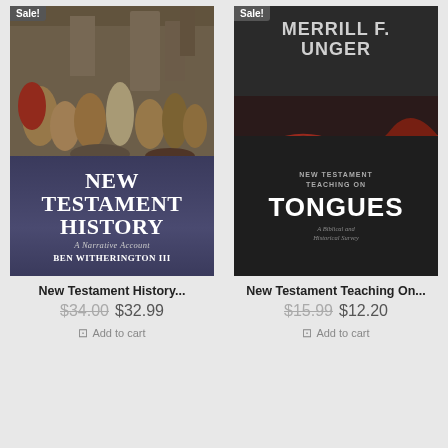[Figure (photo): Book cover: New Testament History - A Narrative Account by Ben Witherington III, with a historical painting scene at top and navy/purple title area at bottom]
New Testament History...
$34.00  $32.99
Add to cart
[Figure (photo): Book cover: New Testament Teaching on Tongues - A Biblical and Historical Survey by Merrill F. Unger, dark background with red flame/smoke and large white text]
New Testament Teaching On...
$15.99  $12.20
Add to cart